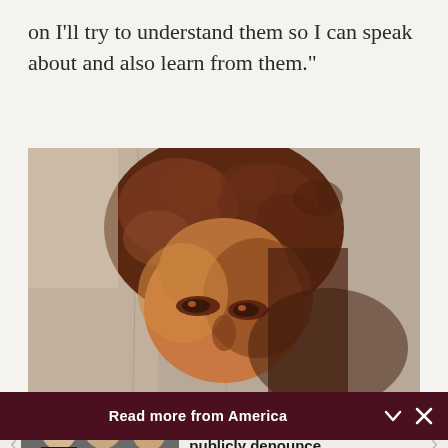on I'll try to understand them so I can speak about and also learn from them.”
[Figure (illustration): Close-up painting of a figure's face with curly reddish-brown hair and intense eyes, rendered in a classical oil painting style with warm earth tones]
Read more from America
[Figure (photo): Photo of three clergy members in black clerical attire seated together]
Cardinal critical of bishops who publicly denounce…
Catholic News Service